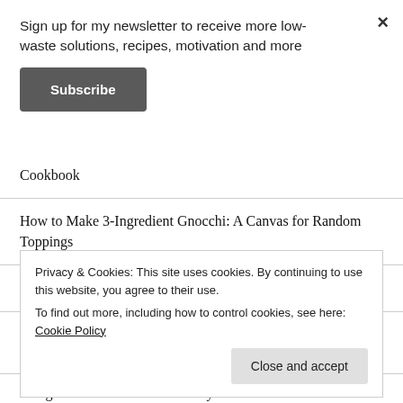Sign up for my newsletter to receive more low-waste solutions, recipes, motivation and more
Subscribe
Cookbook
How to Make 3-Ingredient Gnocchi: A Canvas for Random Toppings
Make It Your Own, 6-Ingredient Easy Chocolate Hummus
Focaccia Made with Sourdough Discard and Scrappy Toppings
Privacy & Cookies: This site uses cookies. By continuing to use this website, you agree to their use. To find out more, including how to control cookies, see here: Cookie Policy
Close and accept
Bring Your Own Container Every Time You Dine Out